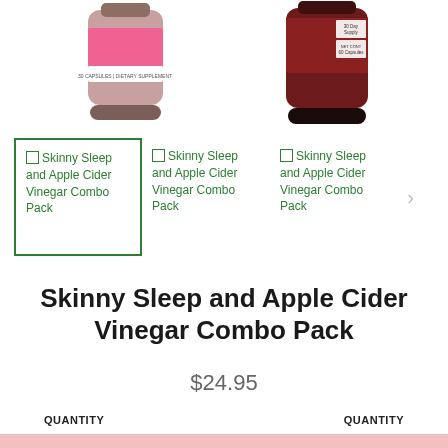[Figure (photo): Two supplement bottles partially visible at the top - left bottle has pink label, right bottle has dark red/maroon label with '30 Day Supply' and '60 Capsules' text]
Skinny Sleep and Apple Cider Vinegar Combo Pack (selected, highlighted with green border)
Skinny Sleep and Apple Cider Vinegar Combo Pack
Skinny Sleep and Apple Cider Vinegar Combo Pack
Skinny Sleep and Apple Cider Vinegar Combo Pack
$24.95
QUANTITY   QUANTITY